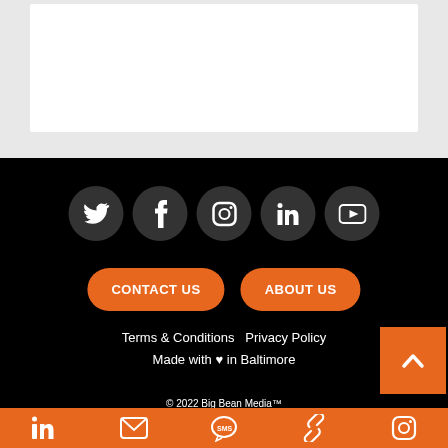[Figure (screenshot): White content box on grey background at top]
[Figure (infographic): Social media icons row: Twitter, Facebook, Instagram, LinkedIn, YouTube in dark circles on black background]
[Figure (infographic): Two orange rounded buttons: CONTACT US and ABOUT US]
Terms & Conditions   Privacy Policy
Made with ♥ in Baltimore
[Figure (infographic): Orange back-to-top arrow button bottom right]
© 2022 Big Bean Media™
[Figure (infographic): Orange bottom navigation bar with icons: LinkedIn, email, SMS, link, Instagram]